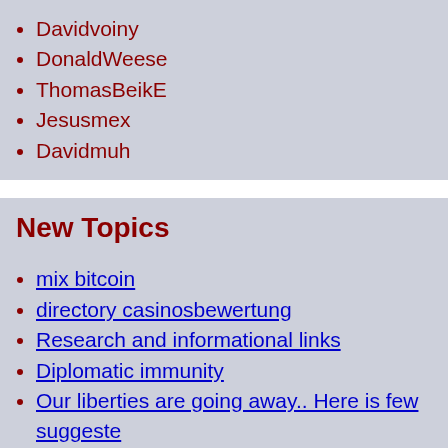Davidvoiny
DonaldWeese
ThomasBeikE
Jesusmex
Davidmuh
New Topics
mix bitcoin
directory casinosbewertung
Research and informational links
Diplomatic immunity
Our liberties are going away.. Here is few suggeste
More
[Figure (illustration): Ad banner reading 'No Lawyer?' with a red italic logo mark]